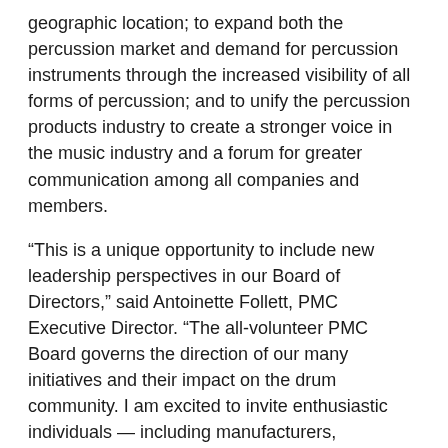geographic location; to expand both the percussion market and demand for percussion instruments through the increased visibility of all forms of percussion; and to unify the percussion products industry to create a stronger voice in the music industry and a forum for greater communication among all companies and members.
“This is a unique opportunity to include new leadership perspectives in our Board of Directors,” said Antoinette Follett, PMC Executive Director. “The all-volunteer PMC Board governs the direction of our many initiatives and their impact on the drum community. I am excited to invite enthusiastic individuals — including manufacturers, professional drummers, music retailers, and percussion advocates — to step up and apply to add their voices to the collective bench strength of the board, which is intent on growing the drumming community.”
The full application and instructions are posted on the PMC’s website at playdrums.org/board-application. Diverse and up-and-coming leaders within the music products industry are